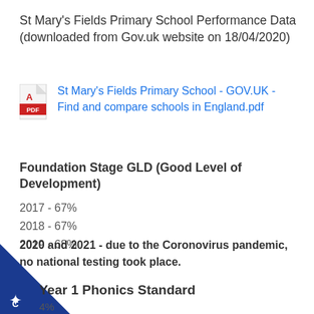St Mary's Fields Primary School Performance Data (downloaded from Gov.uk website on 18/04/2020)
[Figure (other): PDF file icon (Adobe PDF red icon) with a link text: St Mary's Fields Primary School - GOV.UK - Find and compare schools in England.pdf]
Foundation Stage GLD (Good Level of Development)
2017 - 67%
2018 - 67%
2019 - 68%
2020 and 2021 - due to the Coronovirus pandemic, no national testing took place.
Year 1 Phonics Standard